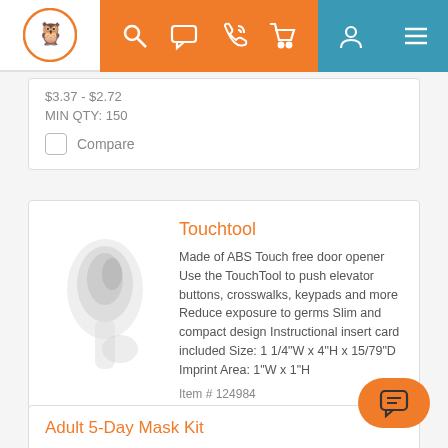Navigation bar with logo, search, chat, phone, cart, account, and menu icons
$3.37 - $2.72
MIN QTY: 150
Compare
Touchtool
Made of ABS Touch free door opener Use the TouchTool to push elevator buttons, crosswalks, keypads and more Reduce exposure to germs Slim and compact design Instructional insert card included Size: 1 1/4"W x 4"H x 15/79"D Imprint Area: 1"W x 1"H
Item # 124984
$3.30 - $2.54
MIN QTY: 250
Compare
Adult 5-Day Mask Kit